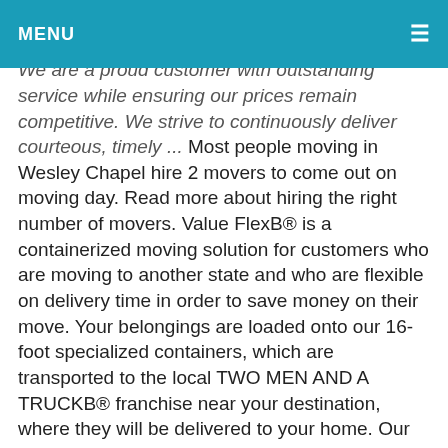MENU ≡
jersey city, New Jersey CheapMovers. We are a fully licensed and insured full service company. We are a proud customer with outstanding service while ensuring our prices remain competitive. We strive to continuously deliver courteous, timely ... Most people moving in Wesley Chapel hire 2 movers to come out on moving day. Read more about hiring the right number of movers. Value FlexB® is a containerized moving solution for customers who are moving to another state and who are flexible on delivery time in order to save money on their move. Your belongings are loaded onto our 16-foot specialized containers, which are transported to the local TWO MEN AND A TRUCKB® franchise near your destination, where they will be delivered to your home. Our system automatically sends text updates to your phone when the movers are on their way to your home. https://connect-hiroyuki.com/community/profile/amberscholl7578/ For one-way rentals, the average deposit amount is $158